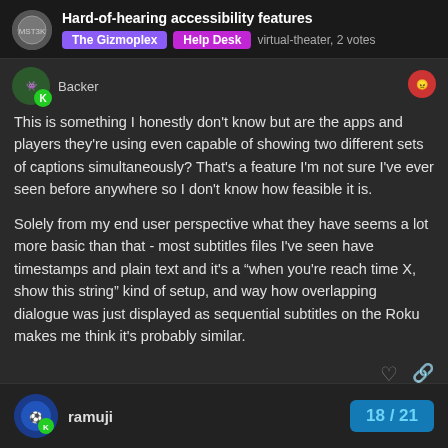Hard-of-hearing accessibility features | The Gizmoplex | Help Desk | virtual-theater, 2 votes
Backer
This is something I honestly don't know but are the apps and players they're using even capable of showing two different sets of captions simultaneously? That's a feature I'm not sure I've ever seen before anywhere so I don't know how feasible it is.
Solely from my end user perspective what they have seems a lot more basic than that - most subtitles files I've seen have timestamps and plain text and it's a “when you're reach time X, show this string” kind of setup, and way how overlapping dialogue was just displayed as sequential subtitles on the Roku makes me think it's probably similar.
ramuji
18 / 21